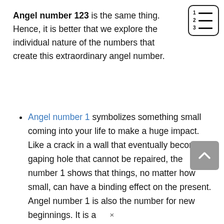Angel number 123 is the same thing. Hence, it is better that we explore the individual nature of the numbers that create this extraordinary angel number.
Angel number 1 symbolizes something small coming into your life to make a huge impact. Like a crack in a wall that eventually becomes a gaping hole that cannot be repaired, the number 1 shows that things, no matter how small, can have a binding effect on the present. Angel number 1 is also the number for new beginnings. It is a